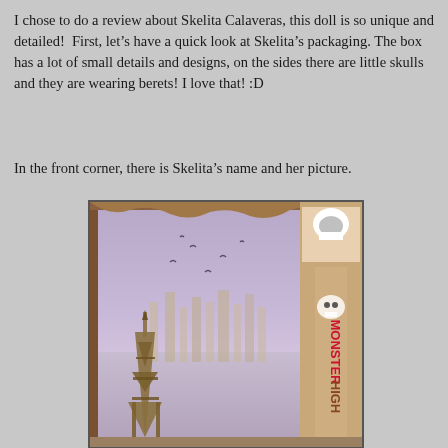I chose to do a review about Skelita Calaveras, this doll is so unique and detailed!  First, let's have a quick look at Skelita's packaging. The box has a lot of small details and designs, on the sides there are little skulls and they are wearing berets! I love that! :D
In the front corner, there is Skelita's name and her picture.
[Figure (photo): A photo of the Monster High Skelita Calaveras doll packaging box, showing the front panel with a purple/lavender background depicting a cityscape with an Eiffel Tower-like structure on the left side. The Monster High logo with skull is visible on the right side of the box. The box is photographed at an angle on a light-colored surface.]